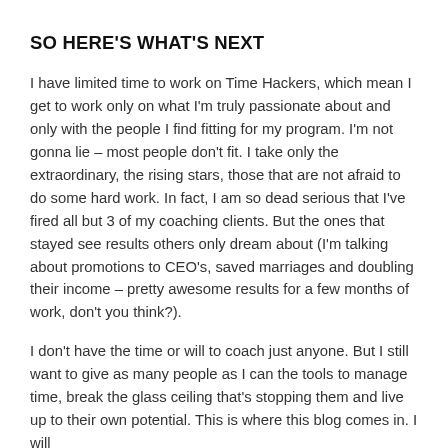SO HERE'S WHAT'S NEXT
I have limited time to work on Time Hackers, which mean I get to work only on what I'm truly passionate about and only with the people I find fitting for my program. I'm not gonna lie – most people don't fit. I take only the extraordinary, the rising stars, those that are not afraid to do some hard work. In fact, I am so dead serious that I've fired all but 3 of my coaching clients. But the ones that stayed see results others only dream about (I'm talking about promotions to CEO's, saved marriages and doubling their income – pretty awesome results for a few months of work, don't you think?).
I don't have the time or will to coach just anyone. But I still want to give as many people as I can the tools to manage time, break the glass ceiling that's stopping them and live up to their own potential. This is where this blog comes in. I will